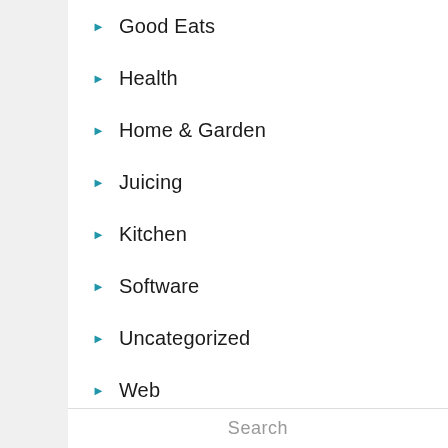Good Eats
Health
Home & Garden
Juicing
Kitchen
Software
Uncategorized
Web
Search